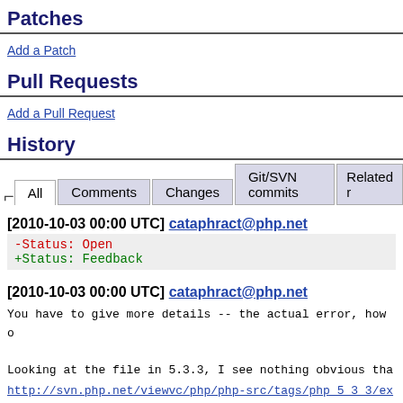Patches
Add a Patch
Pull Requests
Add a Pull Request
History
All | Comments | Changes | Git/SVN commits | Related r
[2010-10-03 00:00 UTC] cataphract@php.net
-Status: Open
+Status: Feedback
[2010-10-03 00:00 UTC] cataphract@php.net
You have to give more details -- the actual error, how o
Looking at the file in 5.3.3, I see nothing obvious tha
http://svn.php.net/viewvc/php/php-src/tags/php_5_3_3/ex